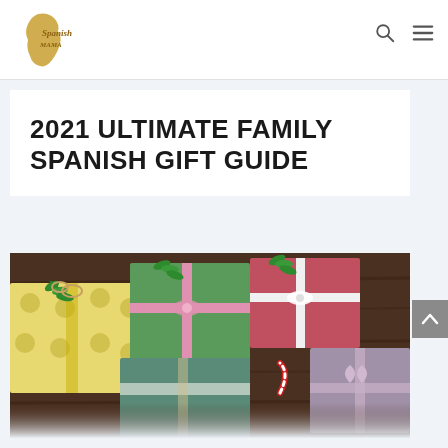Spanish Mama
2021 ULTIMATE FAMILY SPANISH GIFT GUIDE
[Figure (photo): Overhead view of multiple wrapped Christmas gifts in green, yellow, pink, and red wrapping paper with pine sprigs on a dark wooden surface, including a candy cane.]